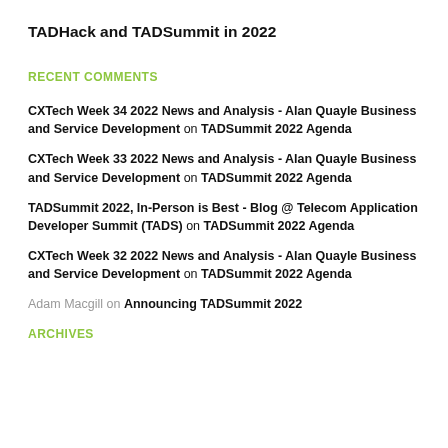TADHack and TADSummit in 2022
RECENT COMMENTS
CXTech Week 34 2022 News and Analysis - Alan Quayle Business and Service Development on TADSummit 2022 Agenda
CXTech Week 33 2022 News and Analysis - Alan Quayle Business and Service Development on TADSummit 2022 Agenda
TADSummit 2022, In-Person is Best - Blog @ Telecom Application Developer Summit (TADS) on TADSummit 2022 Agenda
CXTech Week 32 2022 News and Analysis - Alan Quayle Business and Service Development on TADSummit 2022 Agenda
Adam Macgill on Announcing TADSummit 2022
ARCHIVES